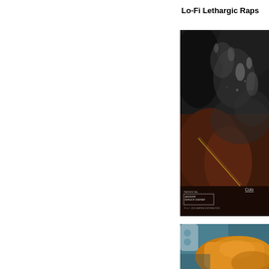Lo-Fi Lethargic Raps
[Figure (photo): Dark album cover art featuring a person in rain with water splashing, dark background with brown/maroon tones, gold chain visible, parental advisory label in bottom left, and text 'Colo' in bottom right]
[Figure (photo): Album cover art with yellow/orange and teal color scheme showing what appears to be a close-up of a guitar or musical instrument]